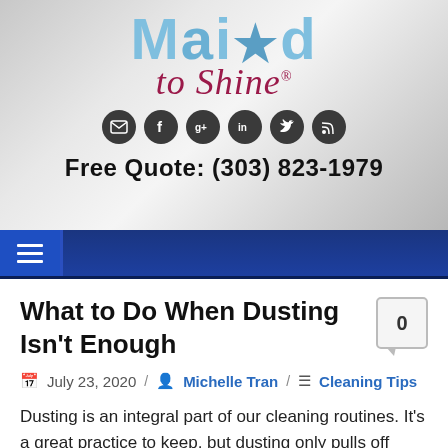[Figure (logo): Maid to Shine logo with social media icons and phone number]
Free Quote: (303) 823-1979
What to Do When Dusting Isn't Enough
July 23, 2020 / Michelle Tran / Cleaning Tips
Dusting is an integral part of our cleaning routines. It's a great practice to keep, but dusting only pulls off loose dust. It doesn't deep clean or pull up dust that has hardened onto surfaces in your home. Sometimes our